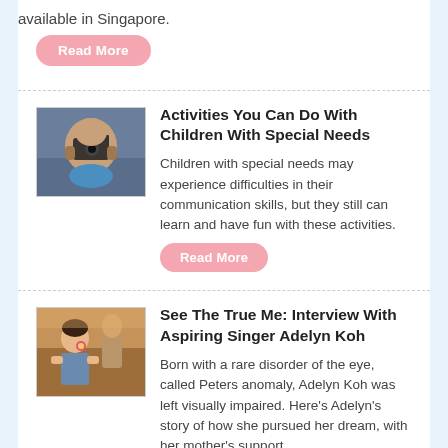available in Singapore.
Read More
Activities You Can Do With Children With Special Needs
[Figure (photo): Child holding a camera up to their face, taking a photo, with a blurred indoor background.]
Children with special needs may experience difficulties in their communication skills, but they still can learn and have fun with these activities.
Read More
See The True Me: Interview With Aspiring Singer Adelyn Koh
[Figure (photo): A woman with a flower decoration near her face in the foreground, with another person standing in the background in a warm-toned indoor setting.]
Born with a rare disorder of the eye, called Peters anomaly, Adelyn Koh was left visually impaired. Here's Adelyn's story of how she pursued her dream, with her mother's support.
Read More